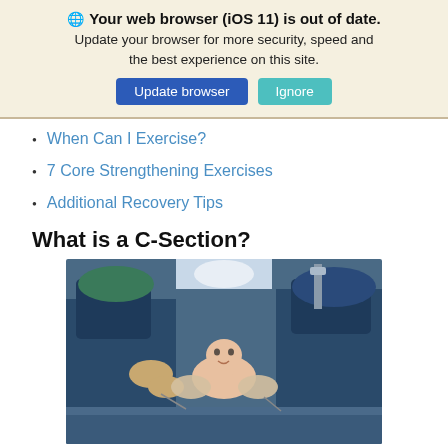🌐 Your web browser (iOS 11) is out of date. Update your browser for more security, speed and the best experience on this site. [Update browser] [Ignore]
When Can I Exercise?
7 Core Strengthening Exercises
Additional Recovery Tips
What is a C-Section?
[Figure (photo): Surgeons in blue scrubs performing a C-section delivery, holding a newborn baby in an operating room.]